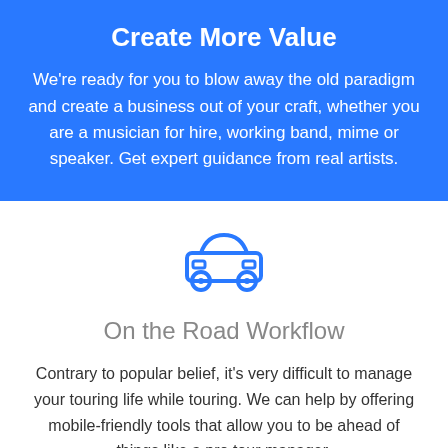Create More Value
We're ready for you to blow away the old paradigm and create a business out of your craft, whether you are a musician for hire, working band, mime or speaker. Get expert guidance from real artists.
[Figure (illustration): Blue outline icon of a car viewed from the front, with rounded roof, headlights, and wheels]
On the Road Workflow
Contrary to popular belief, it's very difficult to manage your touring life while touring. We can help by offering mobile-friendly tools that allow you to be ahead of things like a pro tour manager.